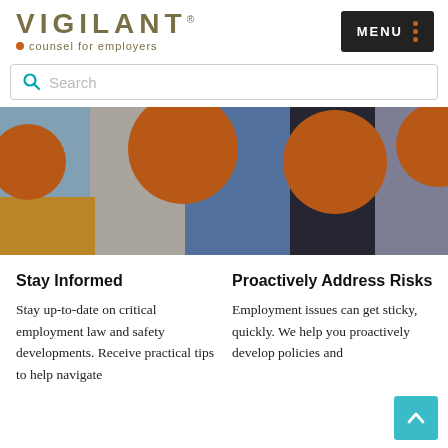[Figure (logo): Vigilant logo with text 'VIGILANT' in tan/olive color, orange dot, and tagline 'counsel for employers']
[Figure (screenshot): Menu button: dark rectangle with 'MENU' text and three orange dots on right]
[Figure (screenshot): Search bar with teal magnifying glass icon and gray placeholder text 'Search']
[Figure (photo): Group of people holding large orange circles in front of their faces, standing side by side]
Stay Informed
Stay up-to-date on critical employment law and safety developments. Receive practical tips to help navigate...
Proactively Address Risks
Employment issues can get sticky, quickly. We help you proactively develop policies and